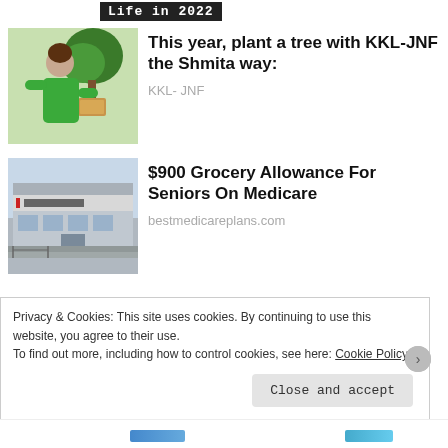Life in 2022
[Figure (photo): Person in green shirt holding a tree sapling]
This year, plant a tree with KKL-JNF the Shmita way:
KKL- JNF
[Figure (photo): Social Security Administration building exterior]
$900 Grocery Allowance For Seniors On Medicare
bestmedicareplans.com
Privacy & Cookies: This site uses cookies. By continuing to use this website, you agree to their use.
To find out more, including how to control cookies, see here: Cookie Policy
Close and accept